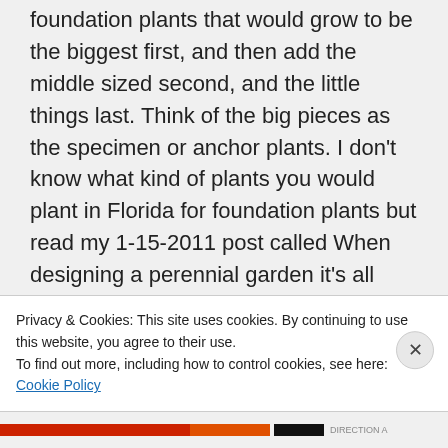foundation plants that would grow to be the biggest first, and then add the middle sized second, and the little things last. Think of the big pieces as the specimen or anchor plants. I don't know what kind of plants you would plant in Florida for foundation plants but read my 1-15-2011 post called When designing a perennial garden it's all about the shapes of leaves, and my 2-22-2011 post called Colored foliage adds the WOW factor to your garden. Also read my 2-23
Privacy & Cookies: This site uses cookies. By continuing to use this website, you agree to their use.
To find out more, including how to control cookies, see here: Cookie Policy